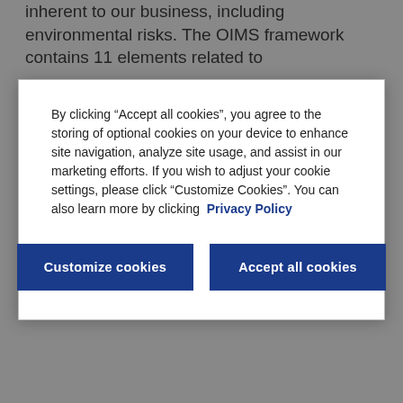inherent to our business, including environmental risks. The OIMS framework contains 11 elements related to
By clicking “Accept all cookies”, you agree to the storing of optional cookies on your device to enhance site navigation, analyze site usage, and assist in our marketing efforts. If you wish to adjust your cookie settings, please click “Customize Cookies”. You can also learn more by clicking Privacy Policy
environmental impacts and prevent incidents.
We operate according to a guiding principle of Protect Tomorrow. Today. that promotes a company culture mindful of the planet and the need to protect it for future generations. Implemented through OIMS, Protect Tomorrow. Today. provides a set of environmental